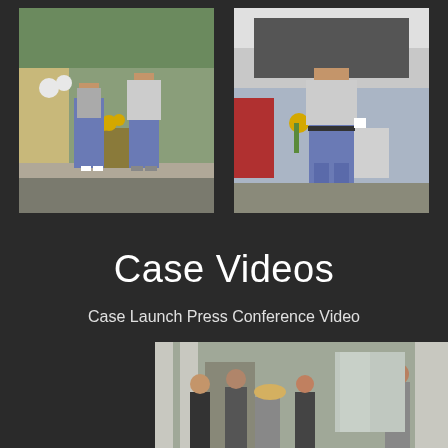[Figure (photo): Two people (a child and an adult man) standing in front of a vehicle with flowers, outdoor market setting]
[Figure (photo): An adult man standing in front of a vehicle trunk open, with flowers and a white container, outdoor setting]
Case Videos
Case Launch Press Conference Video
[Figure (photo): Group of people outside a building with columns, a press conference scene]